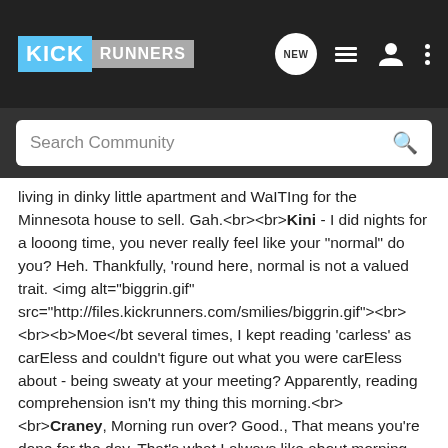KICK RUNNERS
Search Community
living in dinky little apartment and WAITING for the Minnesota house to sell. Gah.<br><br><b>Kini</b> - I did nights for a looong time, you never really feel like your "normal" do you? Heh. Thankfully, 'round here, normal is not a valued trait. <img alt="biggrin.gif" src="http://files.kickrunners.com/smilies/biggrin.gif"><br><br><b>Moe</b><bt several times, I kept reading 'carless' as carEless and couldn't figure out what you were carEless about - being sweaty at your meeting? Apparently, reading comprehension isn't my thing this morning.<br><br><b>Craney</b>, Morning run over? Good., That means you're done for the day. That's what I always like about morning runs. The puppy is as good as he know how to be, which y'know is puppy.<br><br><b>Keriksen</b>. My magic 8-ball says all signs point to yes! Things are looking good for my unscheduled sick day. I am looking forward to it.<br><br>